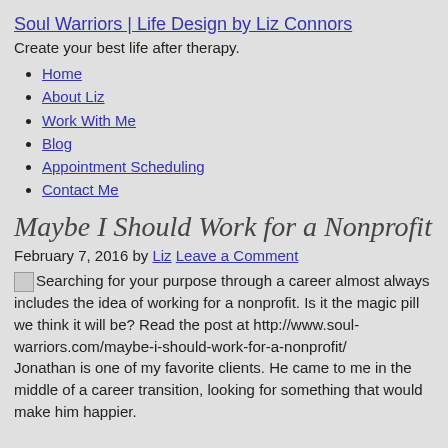Soul Warriors | Life Design by Liz Connors
Create your best life after therapy.
Home
About Liz
Work With Me
Blog
Appointment Scheduling
Contact Me
Maybe I Should Work for a Nonprofit
February 7, 2016 by Liz Leave a Comment
Searching for your purpose through a career almost always includes the idea of working for a nonprofit. Is it the magic pill we think it will be? Read the post at http://www.soul-warriors.com/maybe-i-should-work-for-a-nonprofit/
Jonathan is one of my favorite clients. He came to me in the middle of a career transition, looking for something that would make him happier.